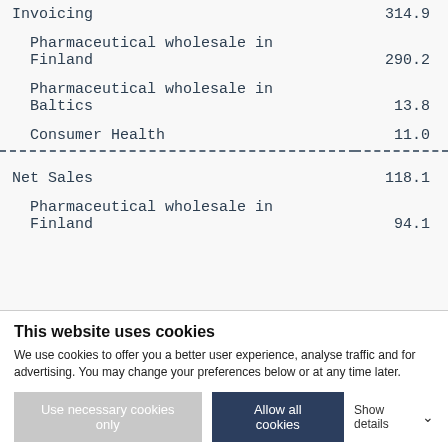|  |  |
| --- | --- |
| Invoicing | 314.9 |
| Pharmaceutical wholesale in Finland | 290.2 |
| Pharmaceutical wholesale in Baltics | 13.8 |
| Consumer Health | 11.0 |
| ---dashed--- |  |
| Net Sales | 118.1 |
| Pharmaceutical wholesale in Finland | 94.1 |
This website uses cookies
We use cookies to offer you a better user experience, analyse traffic and for advertising. You may change your preferences below or at any time later.
Use necessary cookies only
Allow all cookies
Show details